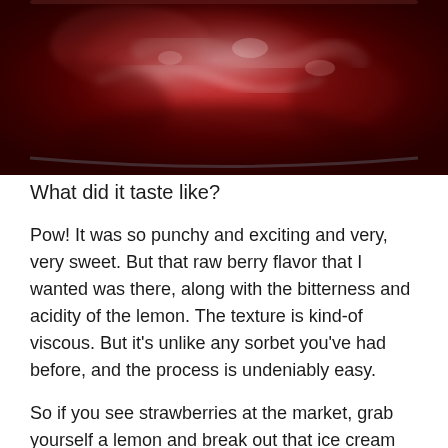[Figure (photo): Close-up photo of red strawberry sorbet with a viscous, textured surface showing swirls and a glistening, deep red color.]
What did it taste like?
Pow! It was so punchy and exciting and very, very sweet. But that raw berry flavor that I wanted was there, along with the bitterness and acidity of the lemon. The texture is kind-of viscous. But it's unlike any sorbet you've had before, and the process is undeniably easy.
So if you see strawberries at the market, grab yourself a lemon and break out that ice cream maker. The zippiest strawberry sorbet you've ever had is just thirty minutes away.